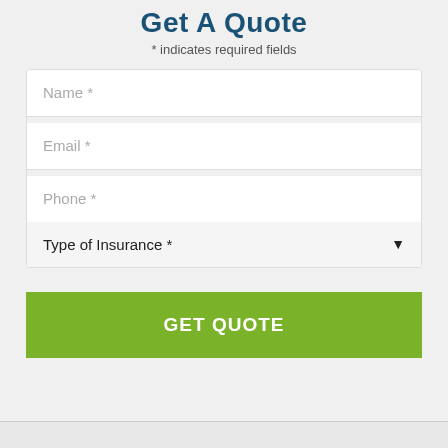Get A Quote
* indicates required fields
Name *
Email *
Phone *
Type of Insurance *
GET QUOTE